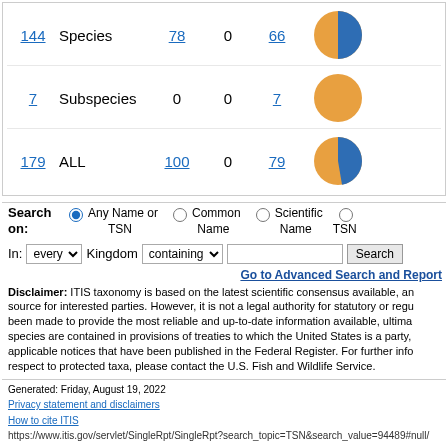| Count | Type | Val1 | Val2 | Val3 | Chart |
| --- | --- | --- | --- | --- | --- |
| 144 | Species | 78 | 0 | 66 | [pie chart] |
| 7 | Subspecies | 0 | 0 | 7 | [pie chart] |
| 179 | ALL | 100 | 0 | 79 | [pie chart] |
Search on: Any Name or TSN (selected), Common Name, Scientific Name, TSN
In: every Kingdom containing [search box] Search
Go to Advanced Search and Report
Disclaimer: ITIS taxonomy is based on the latest scientific consensus available, and is intended as a reference source for interested parties. However, it is not a legal authority for statutory or regulatory purposes. While every effort has been made to provide the most reliable and up-to-date information available, ultimate legal requirements with respect to species are contained in provisions of treaties to which the United States is a party, Wildlife Regulations, or applicable notices that have been published in the Federal Register. For further information on U.S. legal requirements with respect to protected taxa, please contact the U.S. Fish and Wildlife Service.
Generated: Friday, August 19, 2022
Privacy statement and disclaimers
How to cite ITIS
https://www.itis.gov/servlet/SingleRpt/SingleRpt?search_topic=TSN&search_value=94489#null/